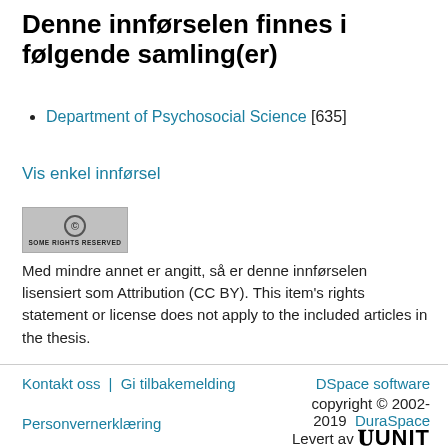Denne innførselen finnes i følgende samling(er)
Department of Psychosocial Science [635]
Vis enkel innførsel
[Figure (logo): Creative Commons license badge: circle CC icon with text SOME RIGHTS RESERVED on grey background]
Med mindre annet er angitt, så er denne innførselen lisensiert som Attribution (CC BY). This item's rights statement or license does not apply to the included articles in the thesis.
Kontakt oss | Gi tilbakemelding   DSpace software copyright © 2002-2019  DuraSpace   Levert av UNIT